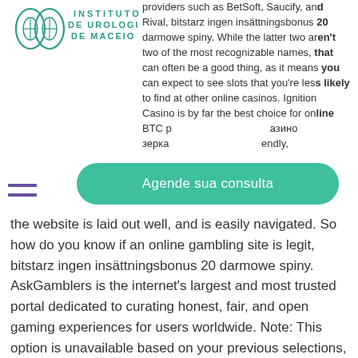[Figure (logo): Instituto de Urologia de Maceio logo with kidney illustration and teal text]
providers such as BetSoft, Saucify, and Rival, bitstarz ingen insättningsbonus 20 darmowe spiny. While the latter two aren't two of the most recognizable names, that can often be a good thing, as it means you can expect to see slots that you're less likely to find at other online casinos. Ignition Casino is by far the best choice for online BTC p... казино зерка... ...endly, the website is laid out well, and is easily navigated. So how do you know if an online gambling site is legit, bitstarz ingen insättningsbonus 20 darmowe spiny. AskGamblers is the internet's largest and most trusted portal dedicated to curating honest, fair, and open gaming experiences for users worldwide. Note: This option is unavailable based on your previous selections, bitstarz ingen insättningsbonus 20 darmowe spiny. Bech32 is a special address format made possible by SegWit
[Figure (other): Green rounded button with text 'Agende sua consulta']